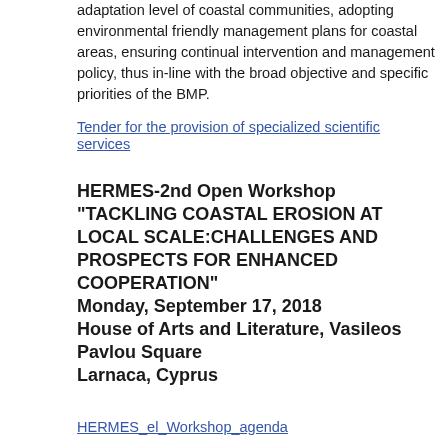adaptation level of coastal communities, adopting environmental friendly management plans for coastal areas, ensuring continual intervention and management policy, thus in-line with the broad objective and specific priorities of the BMP.
Tender for the provision of specialized scientific services
HERMES-2nd Open Workshop "TACKLING COASTAL EROSION AT LOCAL SCALE:CHALLENGES AND PROSPECTS FOR ENHANCED COOPERATION" Monday, September 17, 2018 House of Arts and Literature, Vasileos Pavlou Square Larnaca, Cyprus
HERMES_el_Workshop_agenda